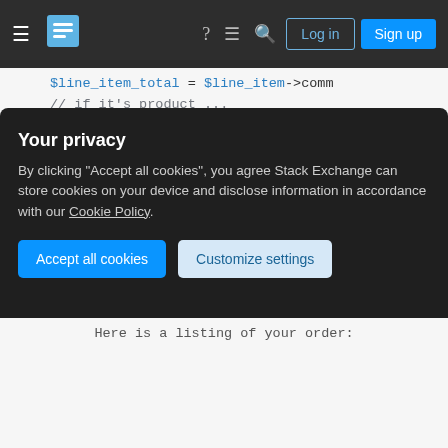[Figure (screenshot): Stack Exchange navigation bar with hamburger menu, logo, icons, Log in and Sign up buttons on dark background]
$line_item_total = $line_item->comm
// if it's product ...
if ($line_item_type == 'product') {
    // casting to (int) gets rid of
    // you can't do above if you've
    $quantity = (int) $line_item->q
    // get the product from the lin
    $product = commerce_product_loa
    // print out qty and product na
    echo $quantity . "  x\t" . $pro
    // on next line start with tab
    echo "\t  @  \$" . number_form
}
// if it's not 'product' it's 'ship
else {
Your privacy
By clicking "Accept all cookies", you agree Stack Exchange can store cookies on your device and disclose information in accordance with our Cookie Policy.
Accept all cookies    Customize settings
Here is a listing of your order: